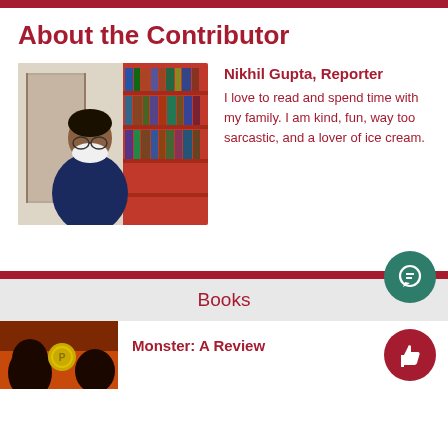About the Contributor
[Figure (photo): Photo of Nikhil Gupta, a student wearing a navy blue sweatshirt and a white face mask, standing in front of red bookshelves filled with binders and books in a classroom or library setting.]
Nikhil Gupta, Reporter
I love to read and spend time with my family. I am kind, fun, way too sarcastic, and a lover of ice cream.
Books
[Figure (photo): Cover of the book 'Monster' showing a dark-skinned person's face and a gold coin-like medal on an orange/dark background.]
Monster: A Review